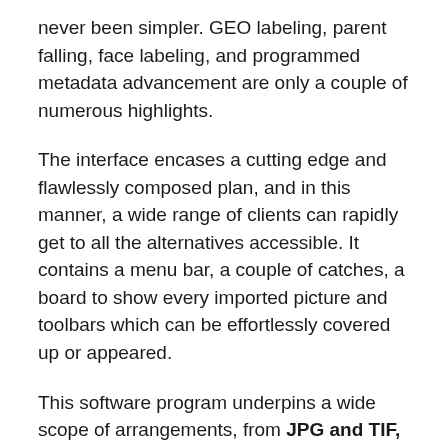never been simpler. GEO labeling, parent falling, face labeling, and programmed metadata advancement are only a couple of numerous highlights.
The interface encases a cutting edge and flawlessly composed plan, and in this manner, a wide range of clients can rapidly get to all the alternatives accessible. It contains a menu bar, a couple of catches, a board to show every imported picture and toolbars which can be effortlessly covered up or appeared.
This software program underpins a wide scope of arrangements, from JPG and TIF, to PPM, CR2, CRW, DCR, MRW, ORF, RAW, KDC, DNG and RAF. Actually, amateur clients can likewise get to a wizard in order to import all the photos they need.